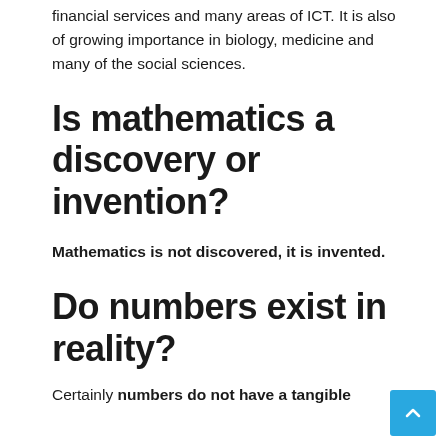financial services and many areas of ICT. It is also of growing importance in biology, medicine and many of the social sciences.
Is mathematics a discovery or invention?
Mathematics is not discovered, it is invented.
Do numbers exist in reality?
Certainly numbers do not have a tangible